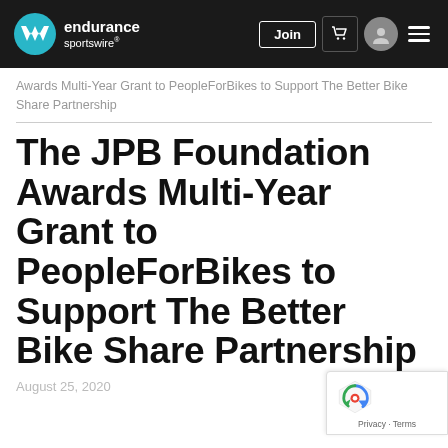endurance sportswire — Join
Awards Multi-Year Grant to PeopleForBikes to Support The Better Bike Share Partnership
The JPB Foundation Awards Multi-Year Grant to PeopleForBikes to Support The Better Bike Share Partnership
August 25, 2020